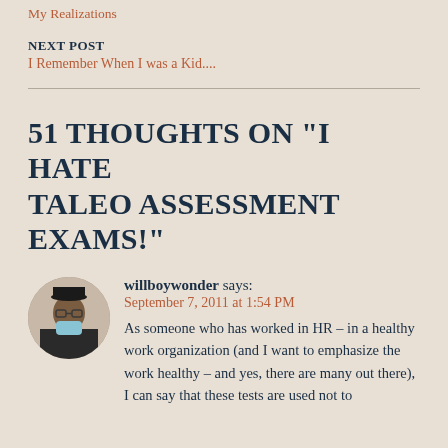My Realizations
NEXT POST
I Remember When I was a Kid....
51 THOUGHTS ON "I HATE TALEO ASSESSMENT EXAMS!"
willboywonder says: September 7, 2011 at 1:54 PM As someone who has worked in HR – in a healthy work organization (and I want to emphasize the work healthy – and yes, there are many out there), I can say that these tests are used not to